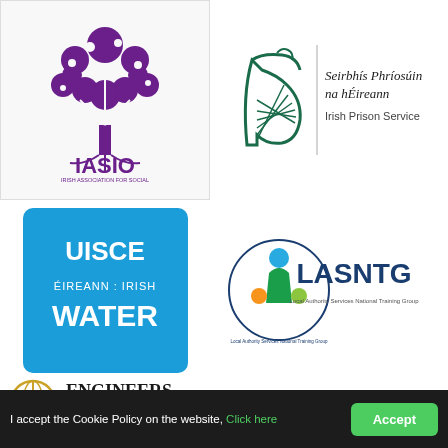[Figure (logo): IASIO - Irish Association for Social Inclusion Opportunities logo with tree motif in purple]
[Figure (logo): Irish Prison Service / Seirbhis Phríosúin na hÉireann logo with harp]
[Figure (logo): Uisce Éireann / Irish Water logo in blue]
[Figure (logo): LASNTG - Local Authority Services National Training Group logo]
[Figure (logo): Engineers Ireland logo]
I accept the Cookie Policy on the website, Click here
Accept